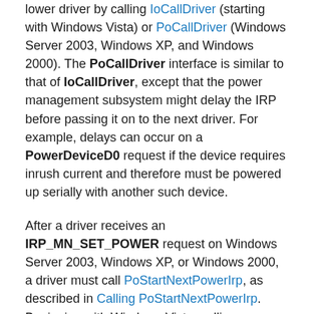lower driver by calling IoCallDriver (starting with Windows Vista) or PoCallDriver (Windows Server 2003, Windows XP, and Windows 2000). The PoCallDriver interface is similar to that of IoCallDriver, except that the power management subsystem might delay the IRP before passing it on to the next driver. For example, delays can occur on a PowerDeviceD0 request if the device requires inrush current and therefore must be powered up serially with another such device.
After a driver receives an IRP_MN_SET_POWER request on Windows Server 2003, Windows XP, or Windows 2000, a driver must call PoStartNextPowerIrp, as described in Calling PoStartNextPowerIrp. Beginning with Windows Vista, calling PoStartNextPowerIrp is not required, and such a call performs no power management operation.
IRP_MN_SET_POWER for System Power States